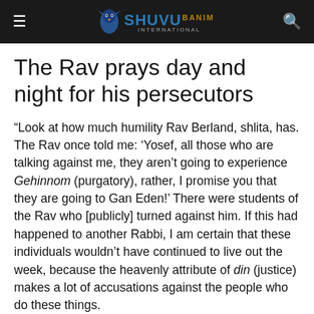SHUVU BANIM International
The Rav prays day and night for his persecutors
“Look at how much humility Rav Berland, shlita, has. The Rav once told me: ‘Yosef, all those who are talking against me, they aren’t going to experience Gehinnom (purgatory), rather, I promise you that they are going to Gan Eden!’ There were students of the Rav who [publicly] turned against him. If this had happened to another Rabbi, I am certain that these individuals wouldn’t have continued to live out the week, because the heavenly attribute of din (justice) makes a lot of accusations against the people who do these things.
“But I’m certain that the Rav is praying day and night for every